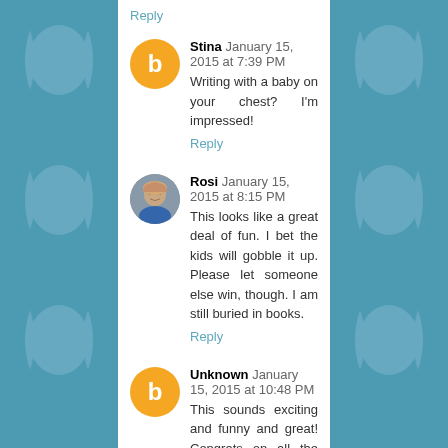Reply
Stina  January 15, 2015 at 7:39 PM
Writing with a baby on your chest? I'm impressed!
Reply
Rosi  January 15, 2015 at 8:15 PM
This looks like a great deal of fun. I bet the kids will gobble it up. Please let someone else win, though. I am still buried in books.
Reply
Unknown  January 15, 2015 at 10:48 PM
This sounds exciting and funny and great! Congrats on all the ebooks, print books, and audio books. That's so impressive. Good luck